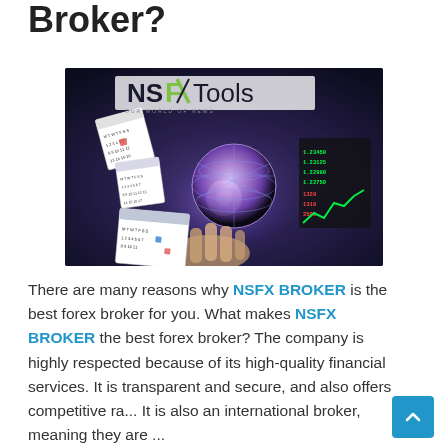Broker?
[Figure (photo): NSFX Tools promotional banner image showing a glowing globe, financial charts, calendars, and a hand, with 'NSFX Tools' logo and tagline 'OUR WORLD OF NEWS']
There are many reasons why NSFX BROKER is the best forex broker for you. What makes NSFX BROKER the best forex broker? The company is highly respected because of its high-quality financial services. It is transparent and secure, and also offers competitive ra... It is also an international broker, meaning they are ...